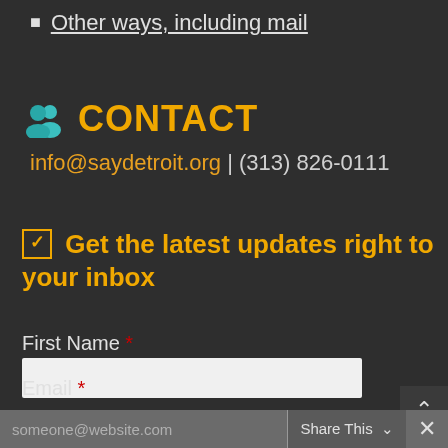Other ways, including mail
CONTACT
info@saydetroit.org | (313) 826-0111
☑ Get the latest updates right to your inbox
First Name *
Last Name *
Email *